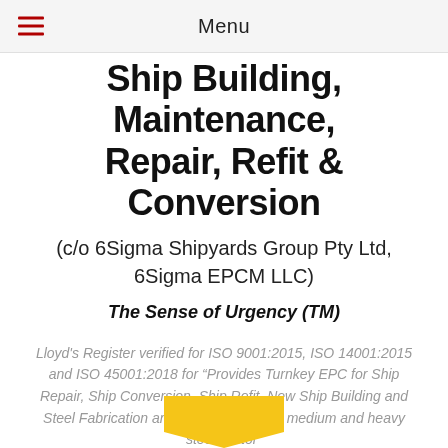Menu
Ship Building, Maintenance, Repair, Refit & Conversion
(c/o 6Sigma Shipyards Group Pty Ltd, 6Sigma EPCM LLC)
The Sense of Urgency (TM)
Lloyd's Register verified for ISO 9001:2015, ISO 14001:2015 and ISO 45001:2018 for “Provides Turnkey EPC for Ship Repair, Ship Conversion, Ship Refit, New Ship Building and Steel Fabrication and Manufacturing in medium and heavy steel sector”
In Joint Venture with:
[Figure (other): Partial yellow pentagon/arrow shape visible at bottom of page]